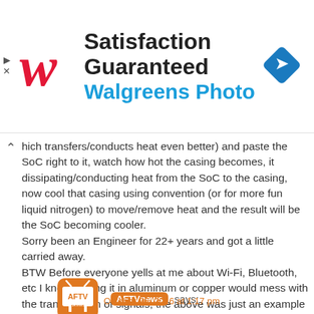[Figure (other): Walgreens Photo advertisement banner with logo, 'Satisfaction Guaranteed' headline, and navigation arrow icon]
hich transfers/conducts heat even better) and paste the SoC right to it, watch how hot the casing becomes, it dissipating/conducting heat from the SoC to the casing, now cool that casing using convention (or for more fun liquid nitrogen) to move/remove heat and the result will be the SoC becoming cooler.
Sorry been an Engineer for 22+ years and got a little carried away.
BTW Before everyone yells at me about Wi-Fi, Bluetooth, etc I know putting it in aluminum or copper would mess with the transmission of signals, the above was just an example of what would allow better heat management.
Reply
[Figure (logo): AFTVnews logo - orange rounded square with TV icon and AFTV news text]
AFTVnews says:
October 26, 2016 at 1:17 pm